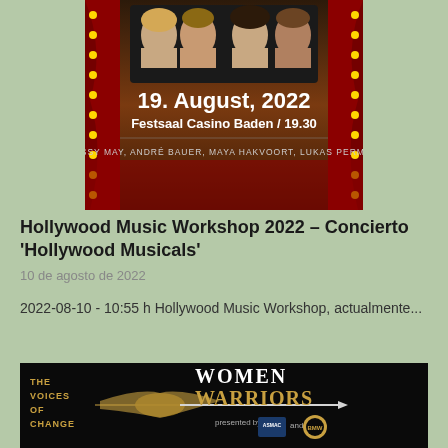[Figure (photo): Event poster for Hollywood Music Workshop 2022 showing four performers on a red curtain stage background with text '19. August, 2022, Festsaal Casino Baden / 19.30, MISSY MAY, ANDRÉ BAUER, MAYA HAKVOORT, LUKAS PERMAN']
Hollywood Music Workshop 2022 – Concierto 'Hollywood Musicals'
10 de agosto de 2022
2022-08-10 - 10:55 h Hollywood Music Workshop, actualmente...
[Figure (photo): Event poster for 'Women Warriors' by The Voices of Change, presented by ASMAC and BMW, showing a golden ornate sword/spear on a black background]